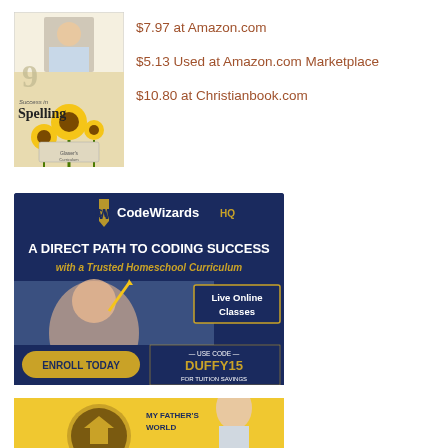[Figure (photo): Book cover: Success in Spelling grade 9, showing a child near sunflowers]
$7.97 at Amazon.com
$5.13 Used at Amazon.com Marketplace
$10.80 at Christianbook.com
[Figure (infographic): CodeWizardsHQ advertisement: A Direct Path to Coding Success with a Trusted Homeschool Curriculum. Live Online Classes. Enroll Today. Use Code DUFFY15 for Tuition Savings.]
[Figure (photo): My Father's World advertisement banner, partially visible at bottom]